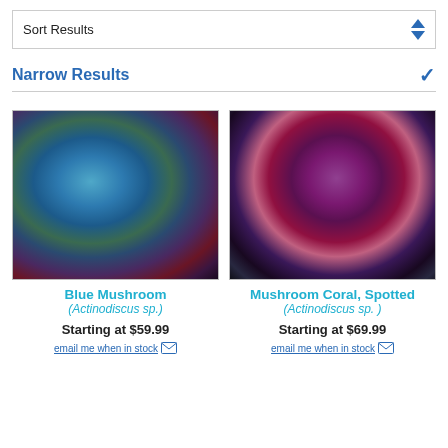Sort Results
Narrow Results
[Figure (photo): Close-up photo of Blue Mushroom coral (Actinodiscus sp.) showing blue-green mushroom-shaped coral polyps on a rocky substrate]
Blue Mushroom
(Actinodiscus sp.)
Starting at $59.99
email me when in stock
[Figure (photo): Close-up photo of Mushroom Coral, Spotted (Actinodiscus sp.) showing purple and red spotted mushroom coral polyps]
Mushroom Coral, Spotted
(Actinodiscus sp. )
Starting at $69.99
email me when in stock